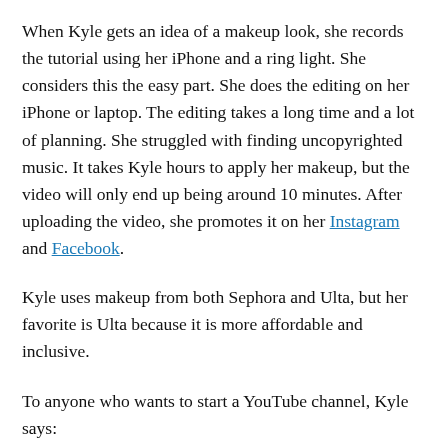When Kyle gets an idea of a makeup look, she records the tutorial using her iPhone and a ring light. She considers this the easy part. She does the editing on her iPhone or laptop. The editing takes a long time and a lot of planning. She struggled with finding uncopyrighted music. It takes Kyle hours to apply her makeup, but the video will only end up being around 10 minutes. After uploading the video, she promotes it on her Instagram and Facebook.
Kyle uses makeup from both Sephora and Ulta, but her favorite is Ulta because it is more affordable and inclusive.
To anyone who wants to start a YouTube channel, Kyle says: